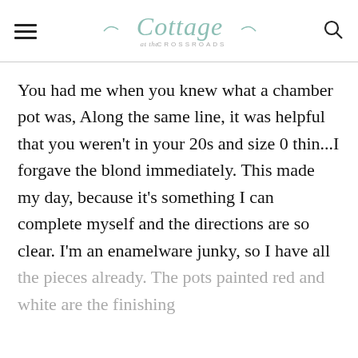Cottage at the Crossroads
You had me when you knew what a chamber pot was, Along the same line, it was helpful that you weren't in your 20s and size 0 thin...I forgave the blond immediately. This made my day, because it's something I can complete myself and the directions are so clear. I'm an enamelware junky, so I have all
the pieces already. The pots painted red and white are the finishing